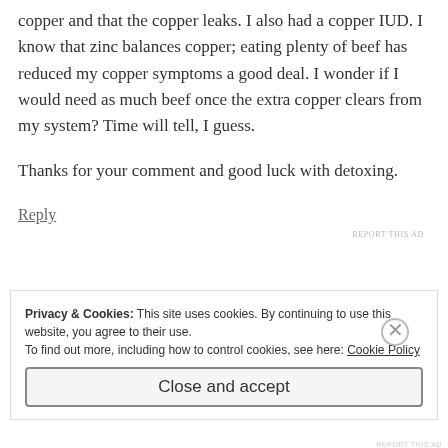copper and that the copper leaks. I also had a copper IUD. I know that zinc balances copper; eating plenty of beef has reduced my copper symptoms a good deal. I wonder if I would need as much beef once the extra copper clears from my system? Time will tell, I guess.
Thanks for your comment and good luck with detoxing.
Reply
REPORT THIS AD
Privacy & Cookies: This site uses cookies. By continuing to use this website, you agree to their use.
To find out more, including how to control cookies, see here: Cookie Policy
Close and accept
REPORT THIS AD